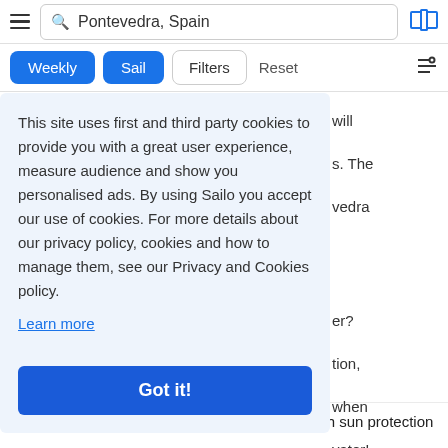Pontevedra, Spain
Weekly  Sail  Filters  Reset
sailboat for a week?
This site uses first and third party cookies to provide you with a great user experience, measure audience and show you personalised ads. By using Sailo you accept our use of cookies. For more details about our privacy policy, cookies and how to manage them, see our Privacy and Cookies policy.
Learn more
Got it!
A jacket or long-sleeve sweater, preferably with sun protection